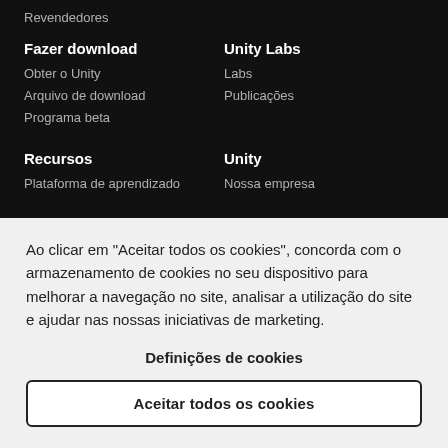Revendedores
Fazer download
Obter o Unity
Arquivo de download
Programa beta
Unity Labs
Labs
Publicações
Recursos
Plataforma de aprendizado
Unity
Nossa empresa
Ao clicar em "Aceitar todos os cookies", concorda com o armazenamento de cookies no seu dispositivo para melhorar a navegação no site, analisar a utilização do site e ajudar nas nossas iniciativas de marketing.
Definições de cookies
Aceitar todos os cookies